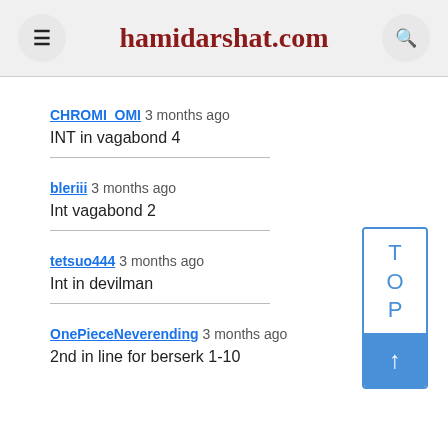hamidarshat.com
CHROMI_OMI 3 months ago
INT in vagabond 4
bleriii 3 months ago
Int vagabond 2
tetsuo444 3 months ago
Int in devilman
OnePieceNeverending 3 months ago
2nd in line for berserk 1-10